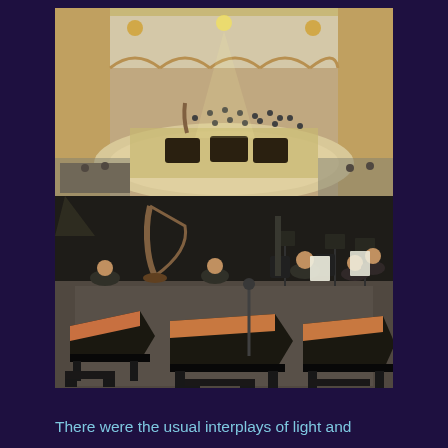[Figure (photo): Two stacked concert hall photos showing an orchestra on stage with grand pianos. Top photo shows a wide aerial view of the full orchestra with multiple grand pianos on stage in a decorated hall. Bottom photo shows a close-up of the stage with three grand pianos in the foreground and orchestra musicians with music stands in the background.]
There were the usual interplays of light and